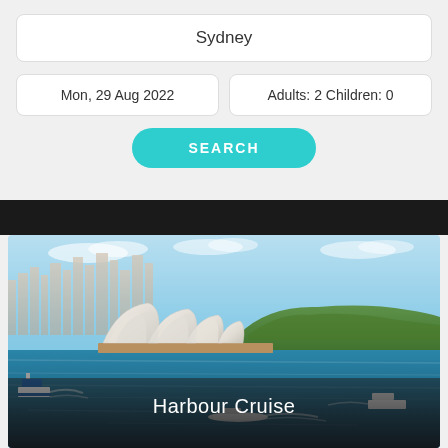Sydney
Mon, 29 Aug 2022
Adults: 2 Children: 0
SEARCH
[Figure (photo): Aerial view of Sydney Harbour with the Sydney Opera House in the foreground, city skyline in the background, and harbour waters with boats]
Harbour Cruise